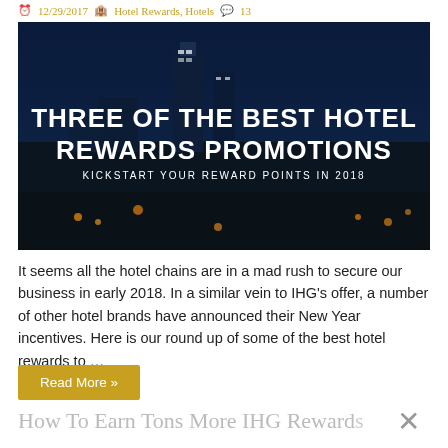12/29/2017   Hotel Rewards, Hotels   13
[Figure (photo): Nighttime city skyline with tall illuminated skyscrapers. White bold text overlay reads: THREE OF THE BEST HOTEL REWARDS PROMOTIONS. Subtitle: KICKSTART YOUR REWARD POINTS IN 2018]
It seems all the hotel chains are in a mad rush to secure our business in early 2018. In a similar vein to IHG's offer, a number of other hotel brands have announced their New Year incentives. Here is our round up of some of the best hotel rewards to …
Read More »
How To Earn Tons More IHG Rewards